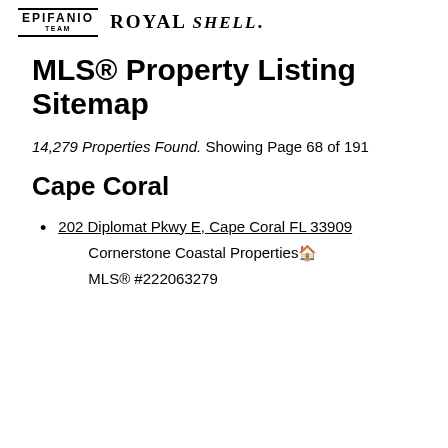EPIFANIO TEAM · ROYAL SHELL.
MLS® Property Listing Sitemap
14,279 Properties Found. Showing Page 68 of 191
Cape Coral
202 Diplomat Pkwy E, Cape Coral FL 33909
Cornerstone Coastal Properties 🏠
MLS® #222063279